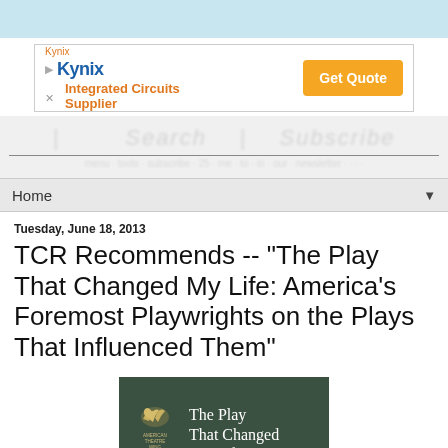[Figure (screenshot): Light blue top bar decorative element]
[Figure (screenshot): Kynix Integrated Circuits Supplier advertisement banner with orange Get Quote button]
[Figure (screenshot): Blurred/faded site header with horizontal rule and tagline]
Home ▼
Tuesday, June 18, 2013
TCR Recommends -- "The Play That Changed My Life: America's Foremost Playwrights on the Plays That Influenced Them"
[Figure (photo): Book cover for 'The Play That Changed My Life' with dark green background, American Theatre Wing logo with golden wing, and white title text]